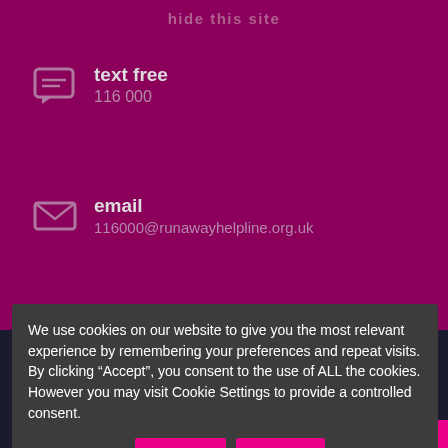hide this site
text free
116 000
email
116000@runawayhelpline.org.uk
We use cookies on our website to give you the most relevant experience by remembering your preferences and repeat visits. By clicking “Accept”, you consent to the use of ALL the cookies. However you may visit Cookie Settings to provide a controlled consent.
Cookie settings
ACCEPT
REJECT
a: PO Box 28908, London, SW14 7ZU
b 020 8392 4590 e: supporters@missingpeople.org.uk
These phone and email details are not 24/7. If you are looking for support please call 116 000 or email 116000@runawayhelpline.org.uk
Privacy, policies and terms of use
Chat